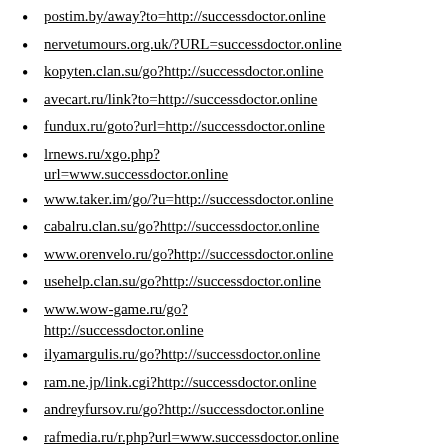postim.by/away?to=http://successdoctor.online
nervetumours.org.uk/?URL=successdoctor.online
kopyten.clan.su/go?http://successdoctor.online
avecart.ru/link?to=http://successdoctor.online
fundux.ru/goto?url=http://successdoctor.online
lrnews.ru/xgo.php?url=www.successdoctor.online
www.taker.im/go/?u=http://successdoctor.online
cabalru.clan.su/go?http://successdoctor.online
www.orenvelo.ru/go?http://successdoctor.online
usehelp.clan.su/go?http://successdoctor.online
www.wow-game.ru/go?http://successdoctor.online
ilyamargulis.ru/go?http://successdoctor.online
ram.ne.jp/link.cgi?http://successdoctor.online
andreyfursov.ru/go?http://successdoctor.online
rafmedia.ru/r.php?url=www.successdoctor.online
www.med-goods.ru/rd.php?u=successdoctor.online